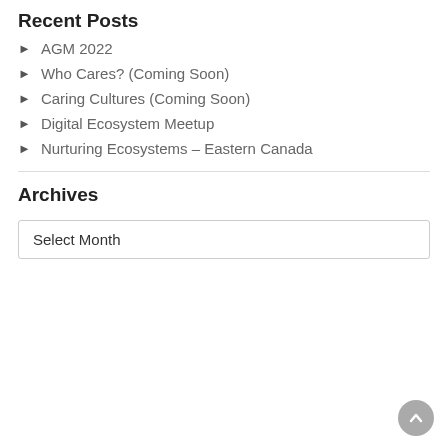Recent Posts
AGM 2022
Who Cares? (Coming Soon)
Caring Cultures (Coming Soon)
Digital Ecosystem Meetup
Nurturing Ecosystems – Eastern Canada
Archives
Select Month